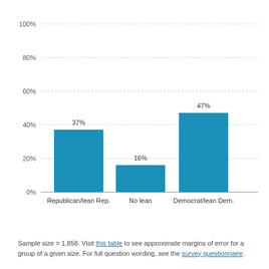[Figure (bar-chart): ]
Sample size = 1,858. Visit this table to see approximate margins of error for a group of a given size. For full question wording, see the survey questionnaire.